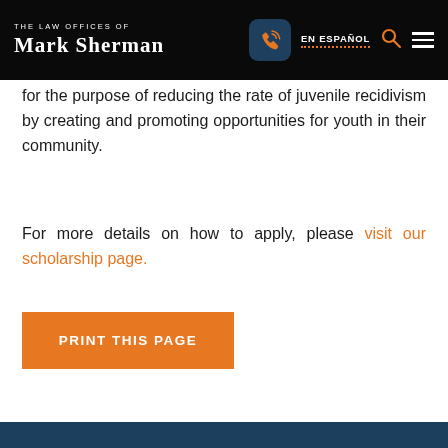THE LAW OFFICES OF MARK SHERMAN | EN ESPAÑOL
for the purpose of reducing the rate of juvenile recidivism by creating and promoting opportunities for youth in their community.
For more details on how to apply, please visit our scholarship page.
PRINT THIS PAGE